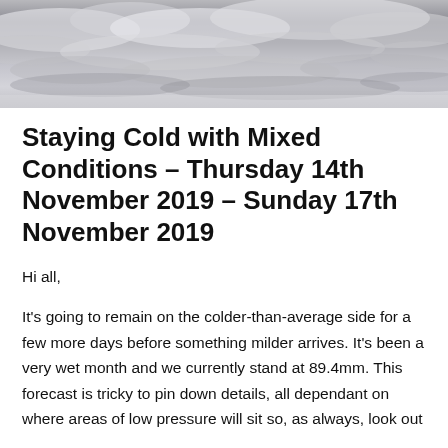[Figure (photo): Black and white photograph of dramatic cloudy sky, used as a banner image at the top of the page.]
Staying Cold with Mixed Conditions – Thursday 14th November 2019 – Sunday 17th November 2019
Hi all,
It's going to remain on the colder-than-average side for a few more days before something milder arrives. It's been a very wet month and we currently stand at 89.4mm. This forecast is tricky to pin down details, all dependant on where areas of low pressure will sit so, as always, look out